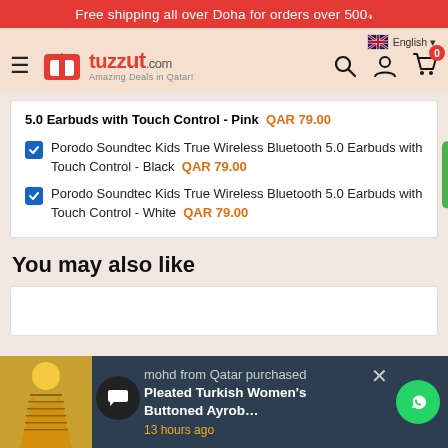Free shipping all over Doha for orders over 500
[Figure (screenshot): Tuzzut.com e-commerce navigation bar with hamburger menu, logo, search, account, and cart icons. Language selector showing English with UK flag.]
5.0 Earbuds with Touch Control - Pink  QAR 79.00
Porodo Soundtec Kids True Wireless Bluetooth 5.0 Earbuds with Touch Control - Black  QAR 79.00
Porodo Soundtec Kids True Wireless Bluetooth 5.0 Earbuds with Touch Control - White  QAR 79.00
You may also like
[Figure (screenshot): Notification popup: mohd from Qatar purchased Pleated Turkish Women's Buttoned Ayrob, 13 hours ago. Dark background with WhatsApp icon and close button.]